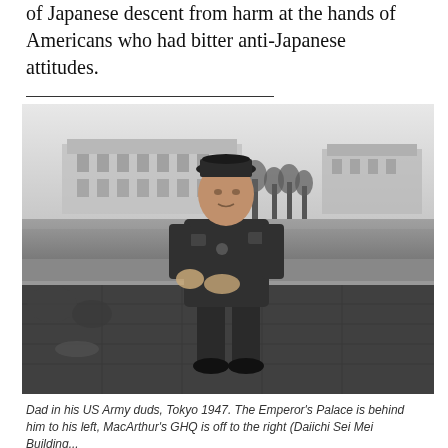of Japanese descent from harm at the hands of Americans who had bitter anti-Japanese attitudes.
[Figure (photo): Black and white photograph of a Japanese American soldier in US Army uniform sitting on a low wall or ledge. He is wearing a military cap and jacket with insignia patches. Behind him is a wide open area with trees and a large classical-style building (the Emperor's Palace). The photo was taken in Tokyo in 1947.]
Dad in his US Army duds, Tokyo 1947. The Emperor's Palace is behind him to his left, MacArthur's GHQ is off to the right (Daiichi Sei Mei Building...